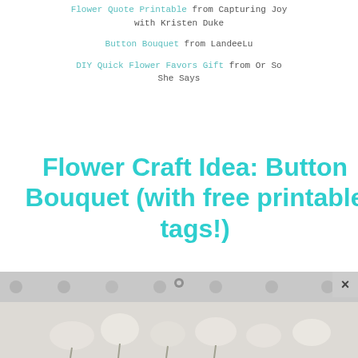Flower Quote Printable from Capturing Joy with Kristen Duke
Button Bouquet from LandeeLu
DIY Quick Flower Favors Gift from Or So She Says
Flower Craft Idea: Button Bouquet (with free printable tags!)
[Figure (photo): Photo of a button bouquet craft with flowers and buttons on a dotted background, with a close/X button overlay in the top right corner]